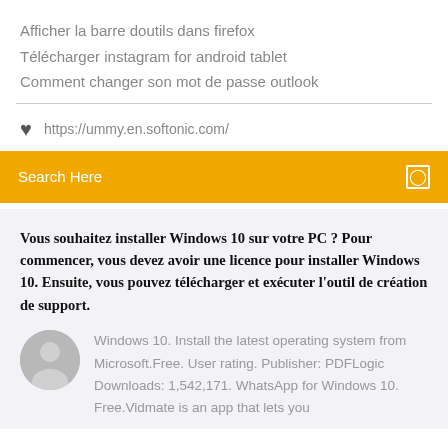Afficher la barre doutils dans firefox
Télécharger instagram for android tablet
Comment changer son mot de passe outlook
https://ummy.en.softonic.com/
Search Here
Vous souhaitez installer Windows 10 sur votre PC ? Pour commencer, vous devez avoir une licence pour installer Windows 10. Ensuite, vous pouvez télécharger et exécuter l'outil de création de support.
Windows 10. Install the latest operating system from Microsoft.Free. User rating. Publisher: PDFLogic Downloads: 1,542,171. WhatsApp for Windows 10. Free.Vidmate is an app that lets you